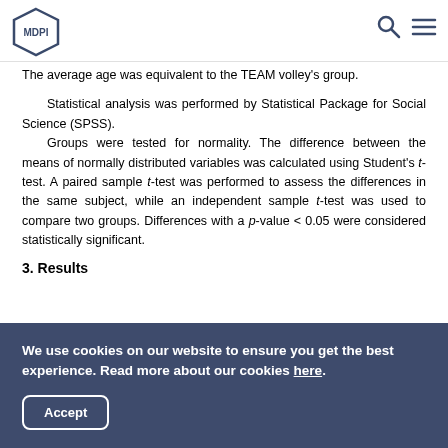MDPI
The average age was equivalent to the TEAM volley's group.
Statistical analysis was performed by Statistical Package for Social Science (SPSS).
        Groups were tested for normality. The difference between the means of normally distributed variables was calculated using Student's t-test. A paired sample t-test was performed to assess the differences in the same subject, while an independent sample t-test was used to compare two groups. Differences with a p-value < 0.05 were considered statistically significant.
3. Results
We use cookies on our website to ensure you get the best experience. Read more about our cookies here.